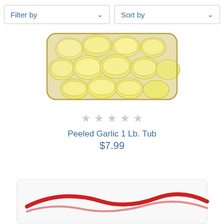Filter by
Sort by
[Figure (photo): A clear plastic tub containing peeled garlic cloves, viewed from above, with yellowish-white cloves visible inside.]
★★★★★ (empty stars, grey)
Peeled Garlic 1 Lb. Tub
$7.99
[Figure (photo): Partial view of a second product package — white packaging with a red logo/design, cropped at bottom of page.]